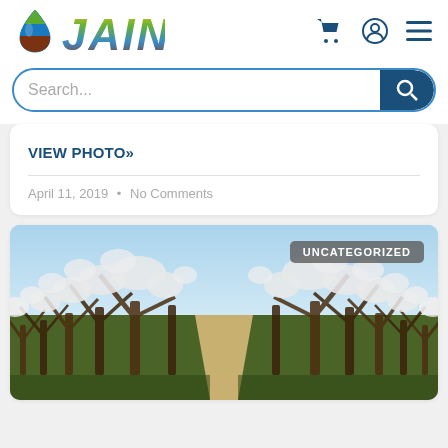[Figure (logo): JAIN Irrigation logo with colorful drop and JAIN text in green/yellow/blue/brown gradient]
[Figure (screenshot): Search bar with placeholder 'Search...' and blue search button]
VIEW PHOTO»
April 11, 2019 • No Comments
[Figure (photo): Orchard rows of blooming almond trees with UNCATEGORIZED badge in top right]